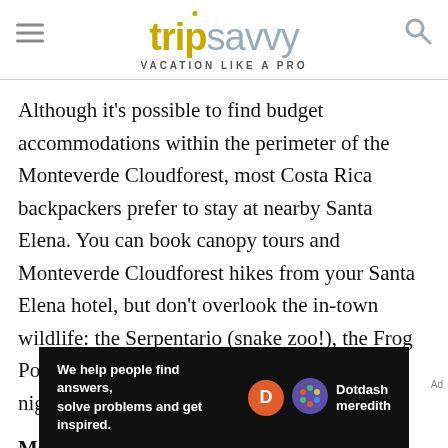tripsavvy VACATION LIKE A PRO
Although it's possible to find budget accommodations within the perimeter of the Monteverde Cloudforest, most Costa Rica backpackers prefer to stay at nearby Santa Elena. You can book canopy tours and Monteverde Cloudforest hikes from your Santa Elena hotel, but don't overlook the in-town wildlife: the Serpentario (snake zoo!), the Frog Pond, the Butterfly Garden... as well as the nightlife.
Monteverde/Santa Elena hostels and backpacker hotels:
[Figure (other): Dotdash Meredith advertisement banner with text 'We help people find answers, solve problems and get inspired.' alongside Dotdash Meredith logo]